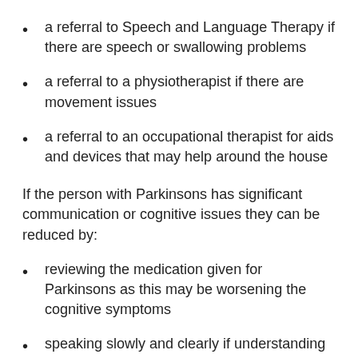a referral to Speech and Language Therapy if there are speech or swallowing problems
a referral to a physiotherapist if there are movement issues
a referral to an occupational therapist for aids and devices that may help around the house
If the person with Parkinsons has significant communication or cognitive issues they can be reduced by:
reviewing the medication given for Parkinsons as this may be worsening the cognitive symptoms
speaking slowly and clearly if understanding and thought processes are slowed
reducing distractions